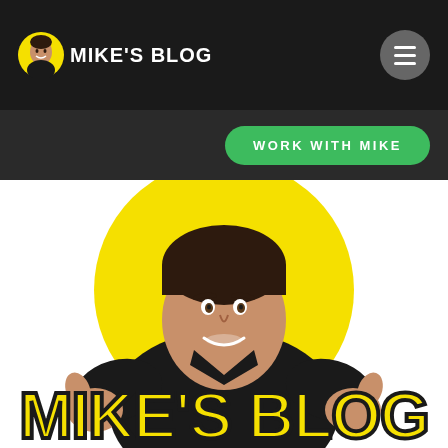MIKE'S BLOG
[Figure (logo): Mike's Blog logo: small circular avatar of cartoon man with yellow background and MIKE'S BLOG text in white]
[Figure (illustration): Cartoon illustration of a smiling man in black shirt giving two thumbs up, in front of a large yellow circle, with MIKE'S BLOG text in yellow bold outlined letters at the bottom]
MIKE'S BLOG